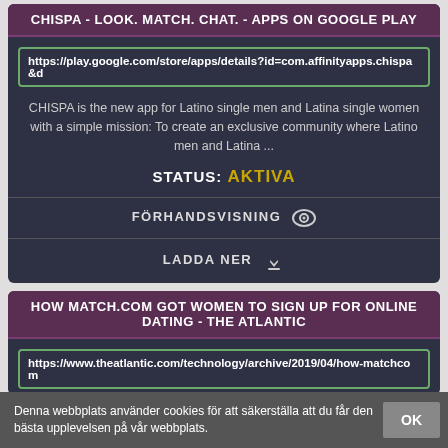CHISPA - LOOK. MATCH. CHAT. - APPS ON GOOGLE PLAY
https://play.google.com/store/apps/details?id=com.affinityapps.chispa&
CHISPA is the new app for Latino single men and Latina single women with a simple mission: To create an exclusive community where Latino men and Latina ...
STATUS: AKTIVA
FÖRHANDSVISNING
LADDA NER
HOW MATCH.COM GOT WOMEN TO SIGN UP FOR ONLINE DATING - THE ATLANTIC
https://www.theatlantic.com/technology/archive/2019/04/how-matchcom
Denna webbplats använder cookies för att säkerställa att du får den bästa upplevelsen på vår webbplats.
OK